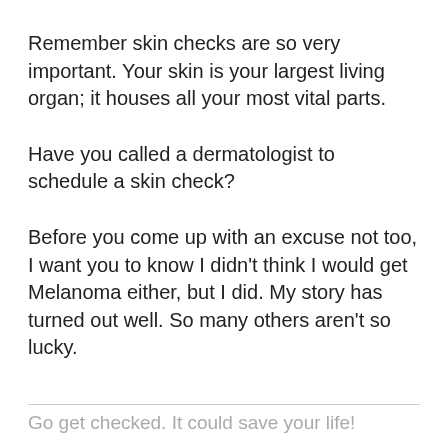Remember skin checks are so very important. Your skin is your largest living organ; it houses all your most vital parts.
Have you called a dermatologist to schedule a skin check?
Before you come up with an excuse not too, I want you to know I didn’t think I would get Melanoma either, but I did. My story has turned out well. So many others aren’t so lucky.
Go get checked. It could save your life!